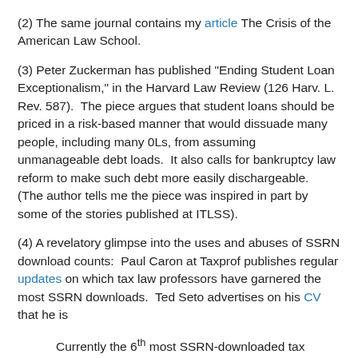(2) The same journal contains my article The Crisis of the American Law School.
(3) Peter Zuckerman has published "Ending Student Loan Exceptionalism," in the Harvard Law Review (126 Harv. L. Rev. 587).  The piece argues that student loans should be priced in a risk-based manner that would dissuade many people, including many 0Ls, from assuming unmanageable debt loads.  It also calls for bankruptcy law reform to make such debt more easily dischargeable.  (The author tells me the piece was inspired in part by some of the stories published at ITLSS).
(4) A revelatory glimpse into the uses and abuses of SSRN download counts:  Paul Caron at Taxprof publishes regular updates on which tax law professors have garnered the most SSRN downloads.  Ted Seto advertises on his CV that he is
Currently the 6th most SSRN-downloaded tax professor in the US (see TaxProf Blog at http://taxprof.typepad.com/taxprof_blog/tax_prof_rankings (last visited)).